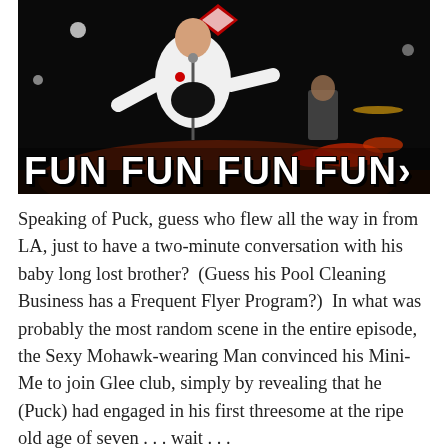[Figure (photo): Performance scene on stage with a man in a white jacket singing at a microphone, with a drummer in the background. Large white text overlay reads 'FUN FUN FUN FUN']
Speaking of Puck, guess who flew all the way in from LA, just to have a two-minute conversation with his baby long lost brother?  (Guess his Pool Cleaning Business has a Frequent Flyer Program?)  In what was probably the most random scene in the entire episode, the Sexy Mohawk-wearing Man convinced his Mini-Me to join Glee club, simply by revealing that he (Puck) had engaged in his first threesome at the ripe old age of seven . . . wait . . .